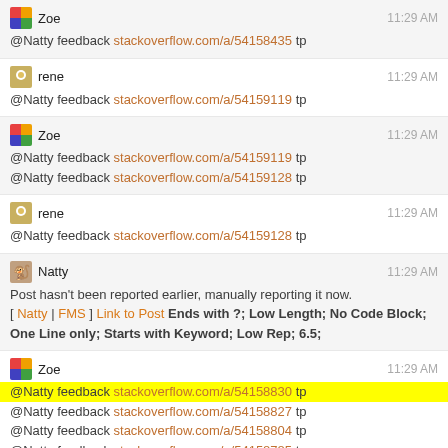Zoe 11:29 AM @Natty feedback stackoverflow.com/a/54158435 tp
rene 11:29 AM @Natty feedback stackoverflow.com/a/54159119 tp
Zoe 11:29 AM @Natty feedback stackoverflow.com/a/54159119 tp @Natty feedback stackoverflow.com/a/54159128 tp
rene 11:29 AM @Natty feedback stackoverflow.com/a/54159128 tp
Natty 11:29 AM Post hasn't been reported earlier, manually reporting it now. [ Natty | FMS ] Link to Post Ends with ?; Low Length; No Code Block; One Line only; Starts with Keyword; Low Rep; 6.5;
Zoe 11:29 AM @Natty feedback stackoverflow.com/a/54158830 tp @Natty feedback stackoverflow.com/a/54158827 tp @Natty feedback stackoverflow.com/a/54158804 tp @Natty feedback stackoverflow.com/a/54158785 tp
rene 11:30 AM @hou fa